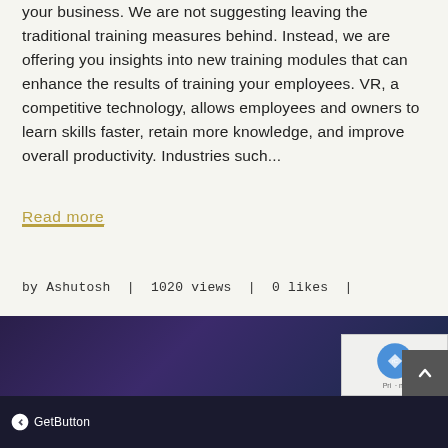your business. We are not suggesting leaving the traditional training measures behind. Instead, we are offering you insights into new training modules that can enhance the results of training your employees. VR, a competitive technology, allows employees and owners to learn skills faster, retain more knowledge, and improve overall productivity. Industries such...
Read more
by Ashutosh | 1020 views | 0 likes |
share:
[Figure (infographic): Social share buttons: Facebook (f) and Twitter (bird icon)]
[Figure (illustration): WhatsApp floating button (green circle with phone icon)]
GetButton
[Figure (screenshot): reCAPTCHA logo and privacy/terms buttons at bottom right]